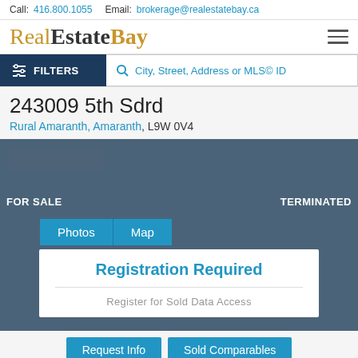Call: 416.800.1055  Email: brokerage@realestatebay.ca
[Figure (logo): RealEstateBay logo with hamburger menu icon]
[Figure (screenshot): Filter bar with FILTERS button and search box: City, Street, Address or MLS© ID]
243009 5th Sdrd
Rural Amaranth, Amaranth, L9W 0V4
[Figure (photo): Listing image with FOR SALE and TERMINATED labels on dark blue-grey background]
[Figure (screenshot): Photos and Map tab buttons on dark background with Registration Required overlay box and Register for Sold Data Access text]
Request Info | Sold Comparables
CALL 416.800.1055